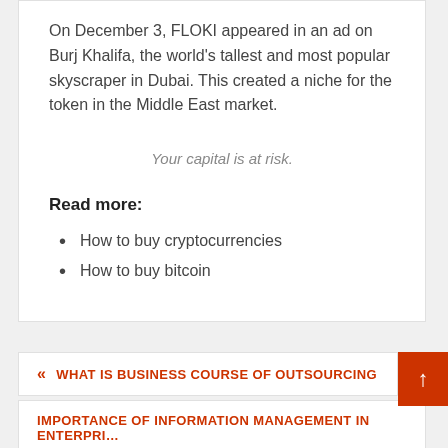On December 3, FLOKI appeared in an ad on Burj Khalifa, the world's tallest and most popular skyscraper in Dubai. This created a niche for the token in the Middle East market.
Your capital is at risk.
Read more:
How to buy cryptocurrencies
How to buy bitcoin
« WHAT IS BUSINESS COURSE OF OUTSOURCING
IMPORTANCE OF INFORMATION MANAGEMENT IN ENTERPRI… »